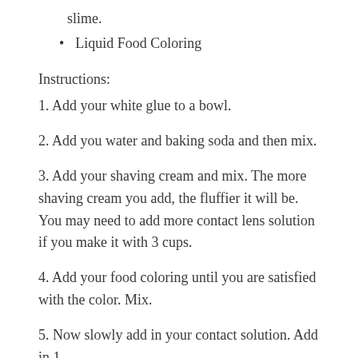slime.
Liquid Food Coloring
Instructions:
1. Add your white glue to a bowl.
2. Add you water and baking soda and then mix.
3. Add your shaving cream and mix. The more shaving cream you add, the fluffier it will be. You may need to add more contact lens solution if you make it with 3 cups.
4. Add your food coloring until you are satisfied with the color. Mix.
5. Now slowly add in your contact solution. Add in 1